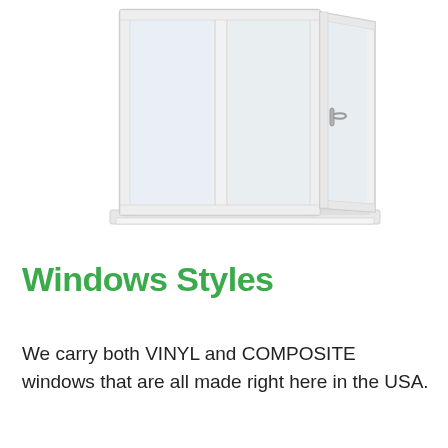[Figure (photo): White vinyl or composite window unit with three panes, one panel open/tilted outward to the right, a handle visible on the right panel, and a wide window sill at the bottom. Photographed against a white background.]
Windows Styles
We carry both VINYL and COMPOSITE windows that are all made right here in the USA.